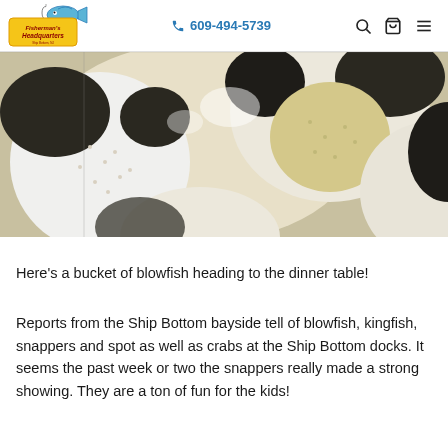Fisherman's Headquarters | 609-494-5739
[Figure (photo): Close-up photo of blowfish (pufferfish) in a bucket, showing their rounded white-and-dark bodies with spiny skin texture]
Here's a bucket of blowfish heading to the dinner table!
Reports from the Ship Bottom bayside tell of blowfish, kingfish, snappers and spot as well as crabs at the Ship Bottom docks. It seems the past week or two the snappers really made a strong showing. They are a ton of fun for the kids!